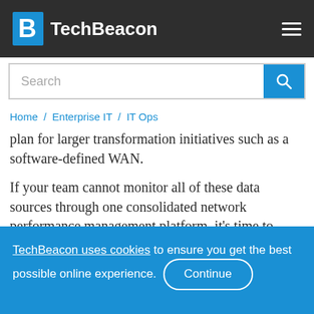TechBeacon
plan for larger transformation initiatives such as a software-defined WAN.
If your team cannot monitor all of these data sources through one consolidated network performance management platform, it's time to
TechBeacon uses cookies to ensure you get the best possible online experience. Continue